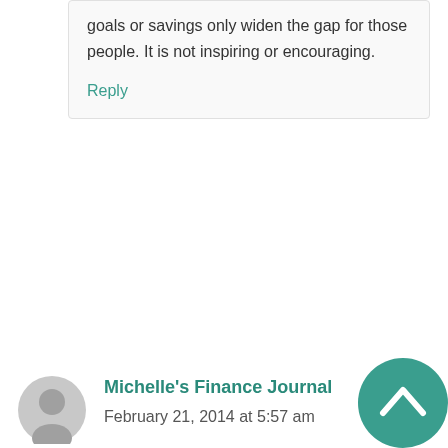goals or savings only widen the gap for those people. It is not inspiring or encouraging.
Reply
Michelle's Finance Journal
February 21, 2014 at 5:57 am
I sometimes still feel like it’s impossible when things aren’t moving fast enough, but to just say and think it’s impossible will really make it impossible. There will